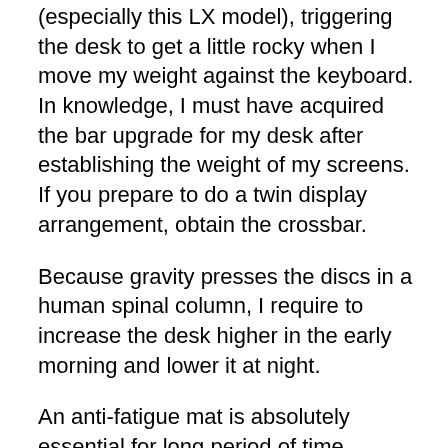(especially this LX model), triggering the desk to get a little rocky when I move my weight against the keyboard. In knowledge, I must have acquired the bar upgrade for my desk after establishing the weight of my screens. If you prepare to do a twin display arrangement, obtain the crossbar.
Because gravity presses the discs in a human spinal column, I require to increase the desk higher in the early morning and lower it at night.
An anti-fatigue mat is absolutely essential for long period of time standing. I purchased an Octagonal floor covering from SmartCells, utilizing rubber “cells” that are visualized distubbled...